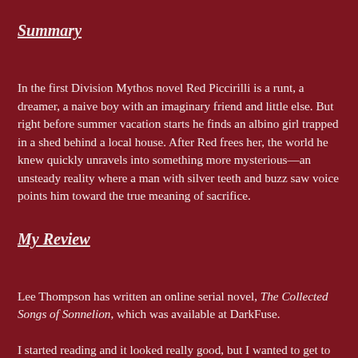Summary
In the first Division Mythos novel Red Piccirilli is a runt, a dreamer, a naive boy with an imaginary friend and little else. But right before summer vacation starts he finds an albino girl trapped in a shed behind a local house. After Red frees her, the world he knew quickly unravels into something more mysterious—an unsteady reality where a man with silver teeth and buzz saw voice points him toward the true meaning of sacrifice.
My Review
Lee Thompson has written an online serial novel, The Collected Songs of Sonnelion, which was available at DarkFuse.
I started reading and it looked really good, but I wanted to get to know Red Piccirilli as a little boy first and then see him grow up. So I started with the first novella in the